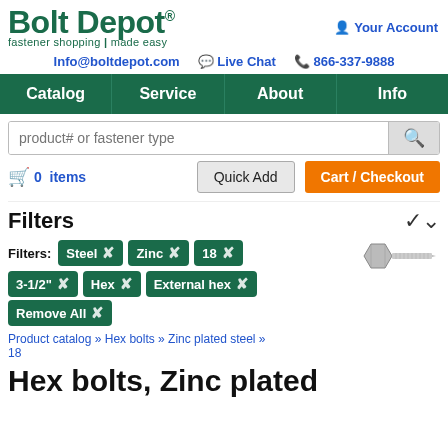Bolt Depot - fastener shopping made easy
Your Account
Info@boltdepot.com  Live Chat  866-337-9888
Catalog  Service  About  Info
product# or fastener type
0 items  Quick Add  Cart / Checkout
Filters
Filters: Steel × Zinc × 18 × 3-1/2" × Hex × External hex × Remove All ×
[Figure (photo): Hex bolt product image, side view]
Product catalog » Hex bolts » Zinc plated steel » 18
Hex bolts, Zinc plated